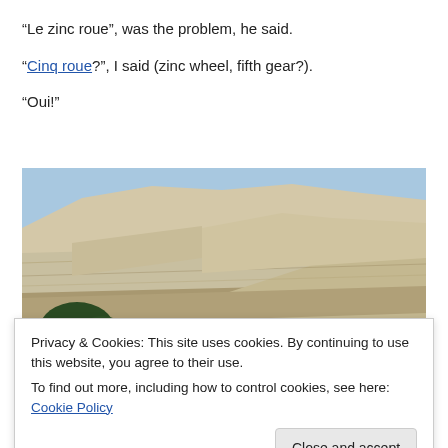“Le zinc roue”, was the problem, he said.
“Cinq roue?”, I said (zinc wheel, fifth gear?).
“Oui!”
[Figure (photo): Photo of a rocky mountain or desert cliff face with layered sedimentary rock strata, some shrubs/trees visible at the lower left.]
Privacy & Cookies: This site uses cookies. By continuing to use this website, you agree to their use.
To find out more, including how to control cookies, see here: Cookie Policy
Close and accept